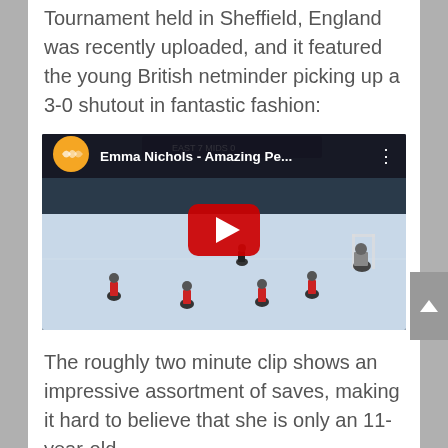Tournament held in Sheffield, England was recently uploaded, and it featured the young British netminder picking up a 3-0 shutout in fantastic fashion:
[Figure (screenshot): YouTube video embed showing Emma Nichols - Amazing Pe... with orange YouTube logo and play button over ice hockey game footage]
The roughly two minute clip shows an impressive assortment of saves, making it hard to believe that she is only an 11-year-old.